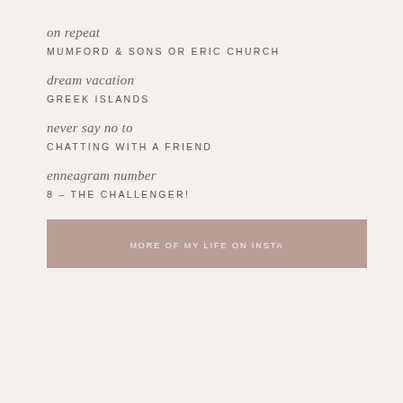on repeat
MUMFORD & SONS OR ERIC CHURCH
dream vacation
GREEK ISLANDS
never say no to
CHATTING WITH A FRIEND
enneagram number
8 – THE CHALLENGER!
MORE OF MY LIFE ON INSTA